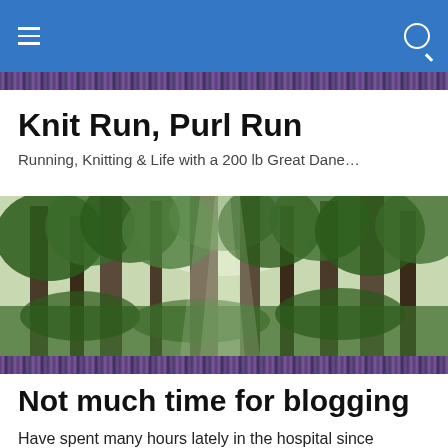Navigation bar with menu and search icons
Knit Run, Purl Run
Running, Knitting & Life with a 200 lb Great Dane…
[Figure (photo): Wide panoramic photo of a lush green forest with tall trees and sunlight filtering through the canopy]
Not much time for blogging
Have spent many hours lately in the hospital since Sunday.  I had to rush Dad to the ER Sunday afternoon, he was having chest pains.  Found out for certain that it was a heart attack – not mild but not severe either.  Still